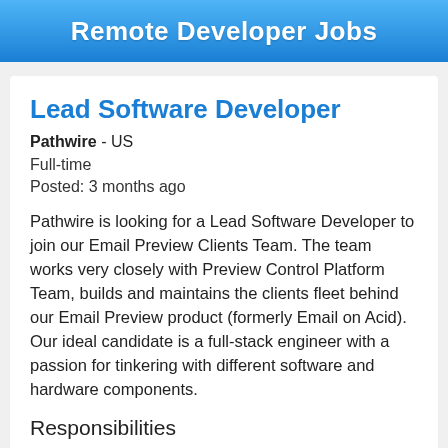Remote Developer Jobs
Lead Software Developer
Pathwire - US
Full-time
Posted: 3 months ago
Pathwire is looking for a Lead Software Developer to join our Email Preview Clients Team. The team works very closely with Preview Control Platform Team, builds and maintains the clients fleet behind our Email Preview product (formerly Email on Acid). Our ideal candidate is a full-stack engineer with a passion for tinkering with different software and hardware components.
Responsibilities